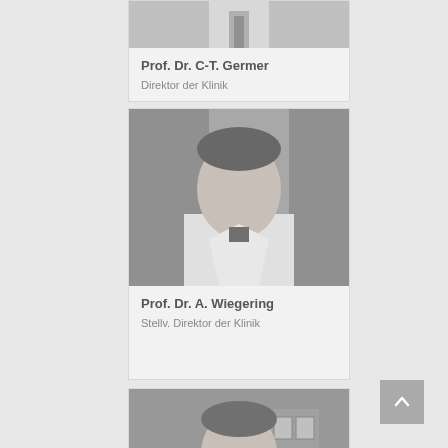[Figure (photo): Partial photo of Prof. Dr. C-T. Germer, black and white portrait, partially cropped at top]
Prof. Dr. C-T. Germer
Direktor der Klinik
[Figure (photo): Black and white portrait photo of Prof. Dr. A. Wiegering in white coat]
Prof. Dr. A. Wiegering
Stellv. Direktor der Klinik
[Figure (photo): Black and white portrait photo of a third doctor in white coat, partially visible at bottom]